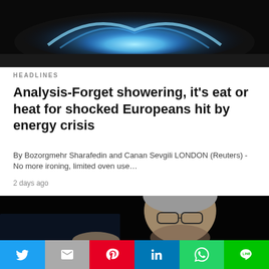[Figure (photo): Blue gas flame on a stove burner against dark background]
HEADLINES
Analysis-Forget showering, it's eat or heat for shocked Europeans hit by energy crisis
By Bozorgmehr Sharafedin and Canan Sevgili LONDON (Reuters) - No more ironing, limited oven use…
2 days ago
[Figure (photo): Elderly man with glasses speaking, dark background, with a dark circular play button overlay in bottom right corner]
Social share bar: Twitter, Mail, Pinterest, LinkedIn, WhatsApp, Line